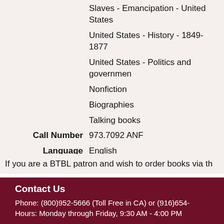| Slaves - Emancipation - United States |  |
| United States - History - 1849-1877 |  |
| United States - Politics and government |  |
| Nonfiction |  |
| Biographies |  |
| Talking books |  |
| Call Number | 973.7092 ANF |
| Language | English |
| Released | 2021 |
| Publication Info | Washington, D.C. : National Library Se... |
| Original Publication | Reissue of: Unabridged [New York] : Pe... |
Add This Item to Book Basket
If you are a BTBL patron and wish to order books via th...
Contact Us
Phone: (800)952-5666 (Toll Free in CA) or (916)654-...
Hours: Monday through Friday, 9:30 AM - 4:00 PM